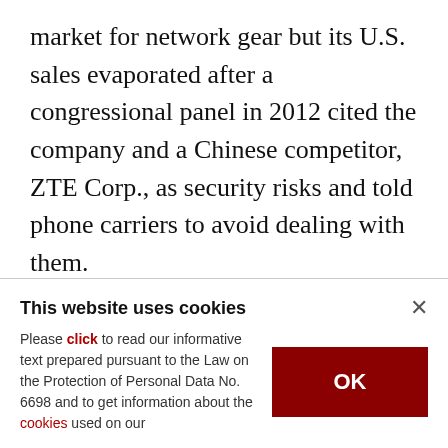market for network gear but its U.S. sales evaporated after a congressional panel in 2012 cited the company and a Chinese competitor, ZTE Corp., as security risks and told phone carriers to avoid dealing with them.
U.S. authorities "have hacked our servers and stolen our emails" but have presented no evidence to support their security claims, Guo said. He complained Washington was "sparing no effort to
This website uses cookies
Please click to read our informative text prepared pursuant to the Law on the Protection of Personal Data No. 6698 and to get information about the cookies used on our